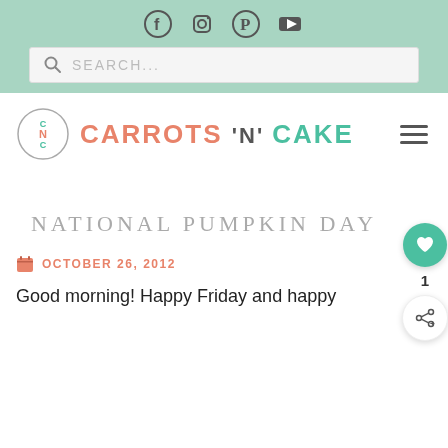Social icons: Facebook, Instagram, Pinterest, YouTube
SEARCH...
CARROTS 'N' CAKE
NATIONAL PUMPKIN DAY
OCTOBER 26, 2012
Good morning! Happy Friday and happy